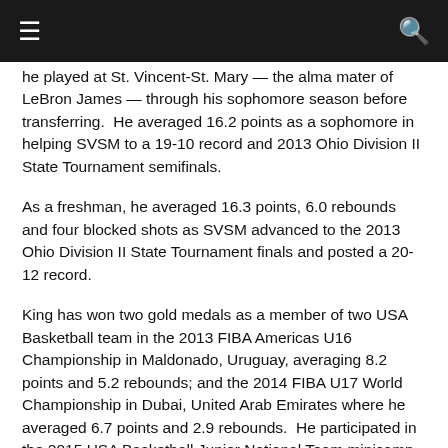☰ [menu] [search]
he played at St. Vincent-St. Mary — the alma mater of LeBron James — through his sophomore season before transferring.  He averaged 16.2 points as a sophomore in helping SVSM to a 19-10 record and 2013 Ohio Division II State Tournament semifinals.
As a freshman, he averaged 16.3 points, 6.0 rebounds and four blocked shots as SVSM advanced to the 2013 Ohio Division II State Tournament finals and posted a 20-12 record.
King has won two gold medals as a member of two USA Basketball team in the 2013 FIBA Americas U16 Championship in Maldonado, Uruguay, averaging 8.2 points and 5.2 rebounds; and the 2014 FIBA U17 World Championship in Dubai, United Arab Emirates where he averaged 6.7 points and 2.9 rebounds.  He participated in the 2015 USA Basketball Junior National Team minicamp in October.
In AAU competition for Team Takover, King was the semifinals MVP at the 2015 Peach Jam in Savannah, Ga. when he totaled 26 points and six rebounds.